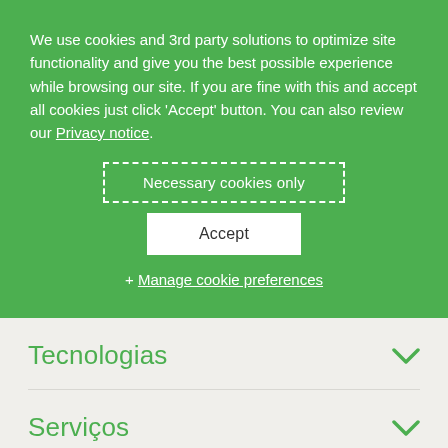We use cookies and 3rd party solutions to optimize site functionality and give you the best possible experience while browsing our site. If you are fine with this and accept all cookies just click 'Accept' button. You can also review our Privacy notice.
Necessary cookies only
Accept
+ Manage cookie preferences
Tecnologias
Serviços
Soluções de automação
Local websites